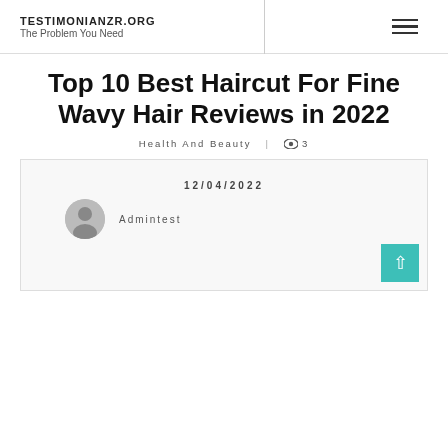TESTIMONIANZR.ORG
The Problem You Need
Top 10 Best Haircut For Fine Wavy Hair Reviews in 2022
Health And Beauty | 👁 3
12/04/2022
Admintest